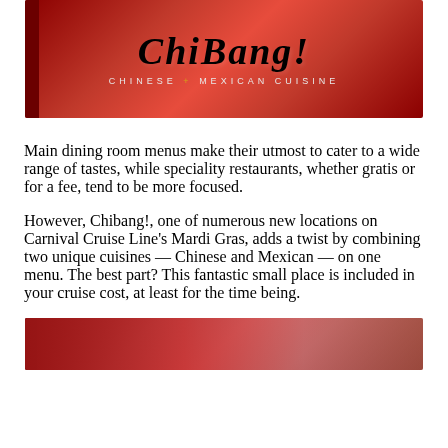[Figure (photo): Red restaurant sign reading 'CHIBANG!' with tagline 'CHINESE + MEXICAN CUISINE' on a dark red background]
Main dining room menus make their utmost to cater to a wide range of tastes, while speciality restaurants, whether gratis or for a fee, tend to be more focused.
However, Chibang!, one of numerous new locations on Carnival Cruise Line's Mardi Gras, adds a twist by combining two unique cuisines — Chinese and Mexican — on one menu. The best part? This fantastic small place is included in your cruise cost, at least for the time being.
[Figure (photo): Bottom portion of a red restaurant sign, partially visible]